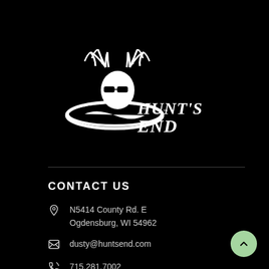[Figure (logo): Hunt's End logo: white deer/buck silhouette with antlers and ellipse swoosh, with text HUNT'S END in serif style on black background]
CONTACT US
N5414 County Rd. E
Ogdensburg, WI 54962
dusty@huntsend.com
715.281.7002